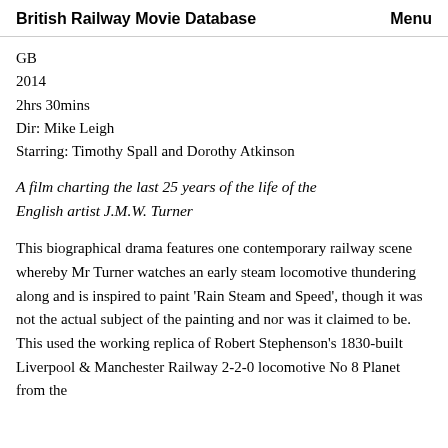British Railway Movie Database    Menu
GB
2014
2hrs 30mins
Dir: Mike Leigh
Starring: Timothy Spall and Dorothy Atkinson
A film charting the last 25 years of the life of the English artist J.M.W. Turner
This biographical drama features one contemporary railway scene whereby Mr Turner watches an early steam locomotive thundering along and is inspired to paint ‘Rain Steam and Speed’, though it was not the actual subject of the painting and nor was it claimed to be. This used the working replica of Robert Stephenson’s 1830-built Liverpool & Manchester Railway 2-2-0 locomotive No 8 Planet from the